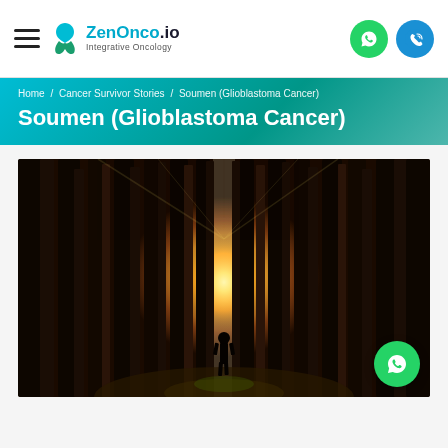ZenOnco.io — Integrative Oncology
Home / Cancer Survivor Stories / Soumen (Glioblastoma Cancer)
Soumen (Glioblastoma Cancer)
[Figure (photo): A silhouette of a person standing in a dark forest with tall trees, sunlight streaming through the trees from behind creating a dramatic golden backlight effect.]